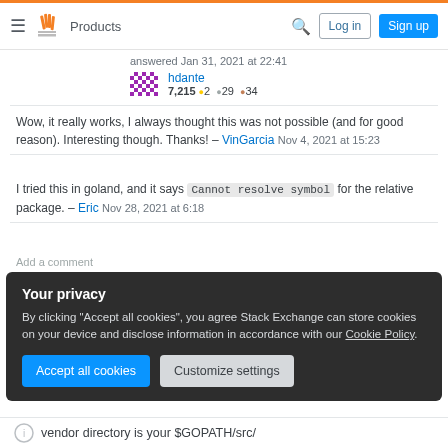≡ [Stack Overflow logo] Products 🔍 Log in Sign up
answered Jan 31, 2021 at 22:41
hdante 7,215 ●2 ●29 ●34
Wow, it really works, I always thought this was not possible (and for good reason). Interesting though. Thanks! – VinGarcia Nov 4, 2021 at 15:23
I tried this in goland, and it says Cannot resolve symbol for the relative package. – Eric Nov 28, 2021 at 6:18
Add a comment
Your privacy
By clicking "Accept all cookies", you agree Stack Exchange can store cookies on your device and disclose information in accordance with our Cookie Policy.
Accept all cookies
Customize settings
vendor directory is your $GOPATH/src/